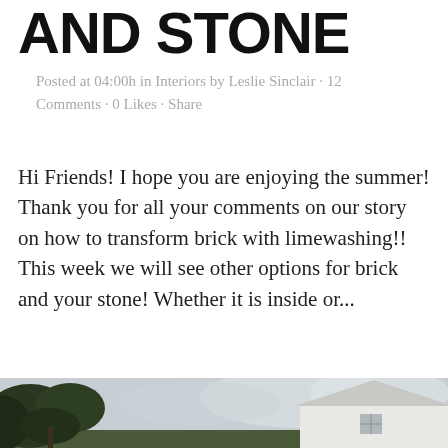AND STONE
Posted at 04:00h in Interiors by Leslie Sinclair · 12 Comments · 0 Likes · Share
Hi Friends! I hope you are enjoying the summer! Thank you for all your comments on our story on how to transform brick with limewashing!! This week we will see other options for brick and your stone! Whether it is inside or...
READ MORE
[Figure (photo): Bottom of page photo strip showing trees and a white building with a triangular roof against a cloudy sky]